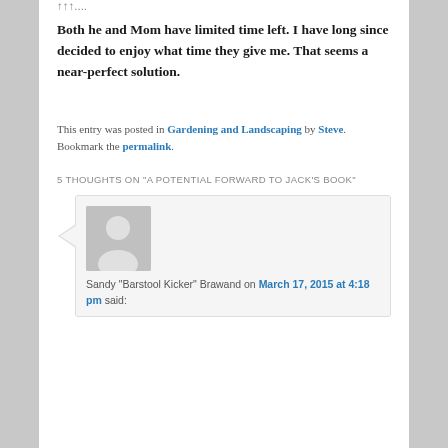↑↑↑....
Both he and Mom have limited time left. I have long since decided to enjoy what time they give me. That seems a near-perfect solution.
This entry was posted in Gardening and Landscaping by Steve. Bookmark the permalink.
5 THOUGHTS ON "A POTENTIAL FORWARD TO JACK'S BOOK"
Sandy "Barstool Kicker" Brawand on March 17, 2015 at 4:18 pm said: